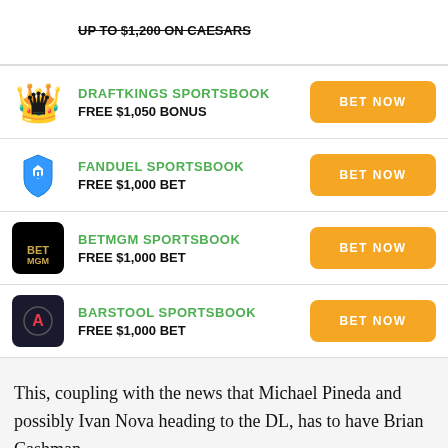DRAFTKINGS SPORTSBOOK — FREE $1,050 BONUS — BET NOW
FANDUEL SPORTSBOOK — FREE $1,000 BET — BET NOW
BETMGM SPORTSBOOK — FREE $1,000 BET — BET NOW
BARSTOOL SPORTSBOOK — FREE $1,000 BET — BET NOW
This, coupling with the news that Michael Pineda and possibly Ivan Nova heading to the DL, has to have Brian Cashman…